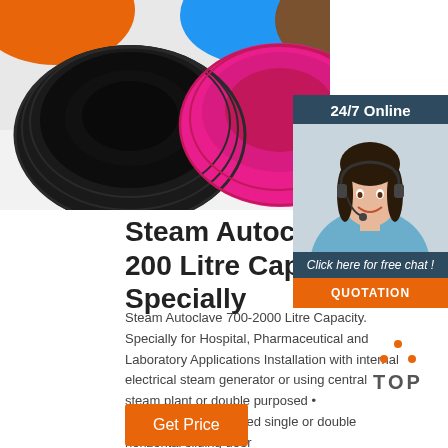[Figure (photo): Multiple colorful hats (black, pink, orange, blue, brown) arranged on a light grey background, viewed from above]
[Figure (photo): 24/7 Online service panel with a female customer service agent wearing a headset, smiling. Panel includes '24/7 Online' header, 'Click here for free chat!' text, and an orange QUOTATION button.]
Steam Autoclave 700-200 Litre Capacity Specially
Steam Autoclave 700-2000 Litre Capacity. Specially for Hospital, Pharmaceutical and Laboratory Applications Installation with internal electrical steam generator or using central steam plant or double purposed • Pneumatically operated single or double horizontal sliding door
[Figure (logo): Orange TOP button with dotted triangle above text]
Get Price